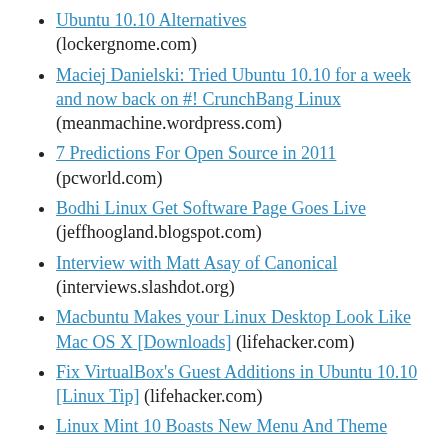Ubuntu 10.10 Alternatives (lockergnome.com)
Maciej Danielski: Tried Ubuntu 10.10 for a week and now back on #! CrunchBang Linux (meanmachine.wordpress.com)
7 Predictions For Open Source in 2011 (pcworld.com)
Bodhi Linux Get Software Page Goes Live (jeffhoogland.blogspot.com)
Interview with Matt Asay of Canonical (interviews.slashdot.org)
Macbuntu Makes your Linux Desktop Look Like Mac OS X [Downloads] (lifehacker.com)
Fix VirtualBox's Guest Additions in Ubuntu 10.10 [Linux Tip] (lifehacker.com)
Linux Mint 10 Boasts New Menu And Theme